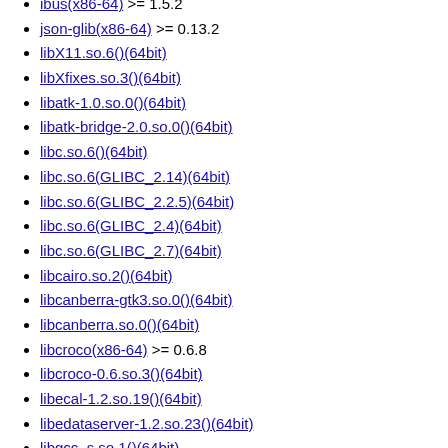ibus(x86-64) >= 1.5.2
json-glib(x86-64) >= 0.13.2
libX11.so.6()(64bit)
libXfixes.so.3()(64bit)
libatk-1.0.so.0()(64bit)
libatk-bridge-2.0.so.0()(64bit)
libc.so.6()(64bit)
libc.so.6(GLIBC_2.14)(64bit)
libc.so.6(GLIBC_2.2.5)(64bit)
libc.so.6(GLIBC_2.4)(64bit)
libc.so.6(GLIBC_2.7)(64bit)
libcairo.so.2()(64bit)
libcanberra-gtk3.so.0()(64bit)
libcanberra.so.0()(64bit)
libcroco(x86-64) >= 0.6.8
libcroco-0.6.so.3()(64bit)
libecal-1.2.so.19()(64bit)
libedataserver-1.2.so.23()(64bit)
libgcc_s.so.1()(64bit)
libgcc_s.so.1(GCC_3.0)(64bit)
libgcc_s.so.1(GCC_3.3.1)(64bit)
libgcr-base-3.so.1()(64bit)
libgdk-3.so.0()(64bit)
libgdk_pixbuf-2.0.so.0()(64bit)
libgio-2.0.so.0()(64bit)